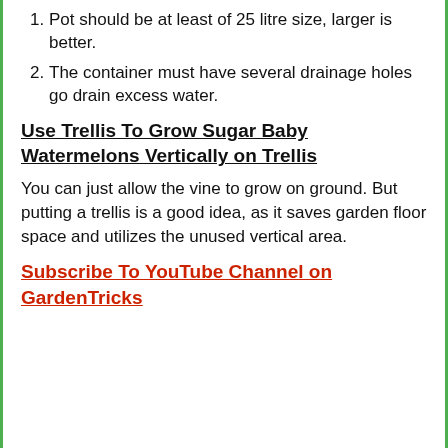Pot should be at least of 25 litre size, larger is better.
The container must have several drainage holes go drain excess water.
Use Trellis To Grow Sugar Baby Watermelons Vertically on Trellis
You can just allow the vine to grow on ground. But putting a trellis is a good idea, as it saves garden floor space and utilizes the unused vertical area.
Subscribe To YouTube Channel on GardenTricks